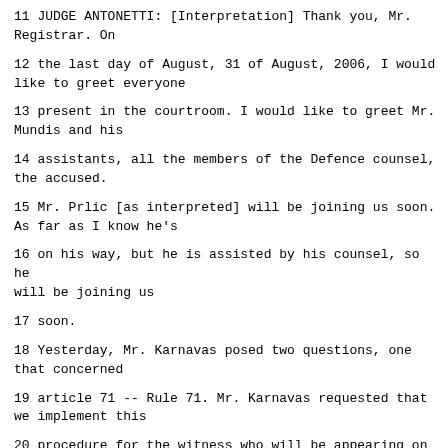11 JUDGE ANTONETTI: [Interpretation] Thank you, Mr. Registrar. On
12 the last day of August, 31 of August, 2006, I would like to greet everyone
13 present in the courtroom. I would like to greet Mr. Mundis and his
14 assistants, all the members of the Defence counsel, the accused.
15 Mr. Prlic [as interpreted] will be joining us soon. As far as I know he's
16 on his way, but he is assisted by his counsel, so he will be joining us
17 soon.
18 Yesterday, Mr. Karnavas posed two questions, one that concerned
19 article 71 -- Rule 71. Mr. Karnavas requested that we implement this
20 procedure for the witness who will be appearing on Monday. The Judges
21 have discussed the matter, and we won't grant this request, which means